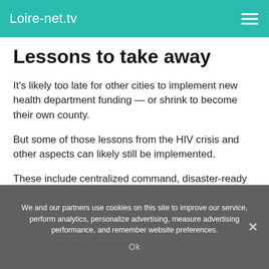Loire-net.tv
Lessons to take away
It's likely too late for other cities to implement new health department funding — or shrink to become their own county.
But some of those lessons from the HIV crisis and other aspects can likely still be implemented.
These include centralized command, disaster-ready workforce, an emphasis on education around masks, tracking of mask compliance, and a widespread but focused testing strategy.
We and our partners use cookies on this site to improve our service, perform analytics, personalize advertising, measure advertising performance, and remember website preferences.
Ok